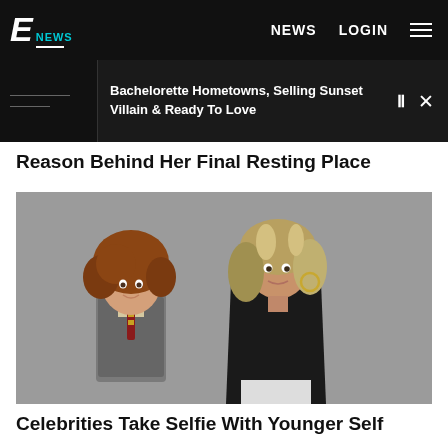E! NEWS  NEWS  LOGIN
Bachelorette Hometowns, Selling Sunset Villain & Ready To Love
Reason Behind Her Final Resting Place
[Figure (photo): Two women posed together against a gray background: a young girl with curly auburn hair wearing a school uniform with a striped tie, and a taller woman with shoulder-length blonde-highlighted hair wearing a black sleeveless dress with gold hoop earrings.]
Celebrities Take Selfie With Younger Self